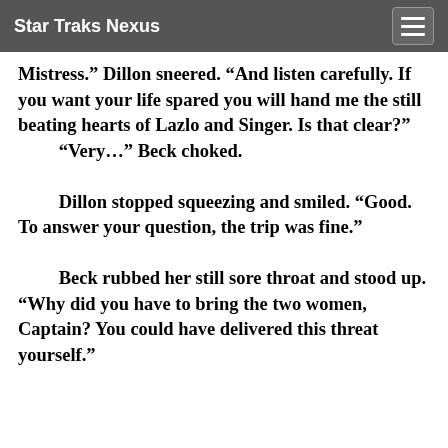Star Traks Nexus
Mistress.” Dillon sneered. “And listen carefully. If you want your life spared you will hand me the still beating hearts of Lazlo and Singer. Is that clear?” “Very…” Beck choked. Dillon stopped squeezing and smiled. “Good. To answer your question, the trip was fine.” Beck rubbed her still sore throat and stood up. “Why did you have to bring the two women, Captain? You could have delivered this threat yourself.”